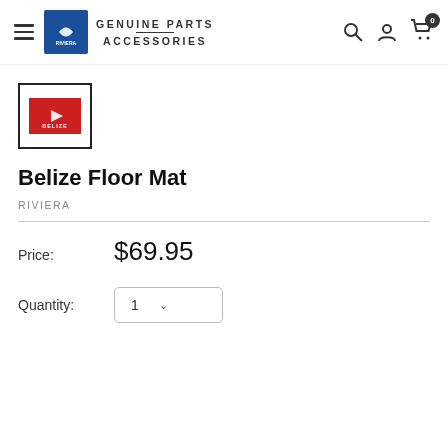GENUINE PARTS ACCESSORIES — Riviera
[Figure (photo): Product thumbnail: red Belize floor mat with white arrow logo and 'BELIZE' text, inside a black-bordered square thumbnail]
Belize Floor Mat
RIVIERA
Price: $69.95
Quantity: 1